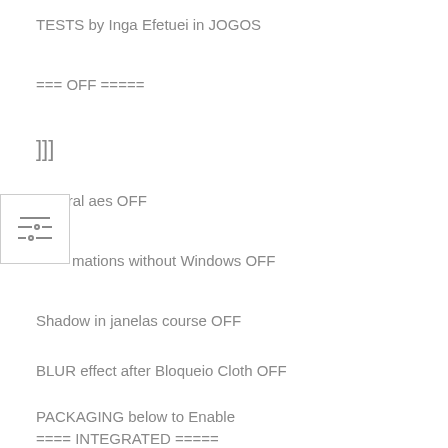TESTS by Inga Efetuei in JOGOS
=== OFF =====
]]]
Central aes OFF
[Figure (other): Small settings/filter icon with three horizontal lines with sliders]
mations without Windows OFF
Shadow in janelas course OFF
BLUR effect after Bloqueio Cloth OFF
PACKAGING below to Enable
==== INTEGRATED =====